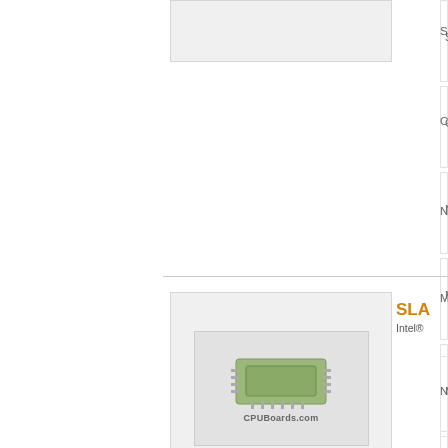[Figure (photo): Product listing page for CPUBoards.com showing two CPU/processor product cards. Top card shows a light gray product image box. Bottom card shows a CPU board image with green chip and CPUBoards.com watermark. Right side shows truncated specification labels: Seri..., Clo..., Num..., Man..., Cac..., FSB... for first product and Num..., Clo..., Seri..., Soc... for second product. Second product has title 'SLA...' in orange and subtitle 'Intel®...' ]